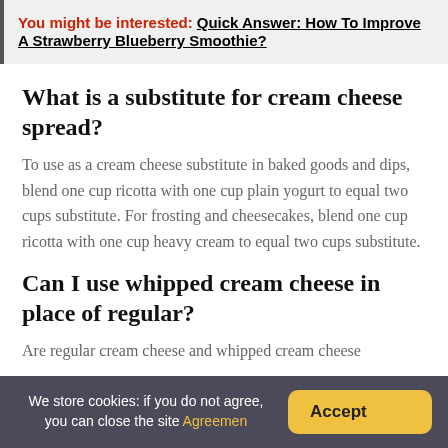You might be interested: Quick Answer: How To Improve A Strawberry Blueberry Smoothie?
What is a substitute for cream cheese spread?
To use as a cream cheese substitute in baked goods and dips, blend one cup ricotta with one cup plain yogurt to equal two cups substitute. For frosting and cheesecakes, blend one cup ricotta with one cup heavy cream to equal two cups substitute.
Can I use whipped cream cheese in place of regular?
Are regular cream cheese and whipped cream cheese
We store cookies: if you do not agree, you can close the site Agreemen  Accept